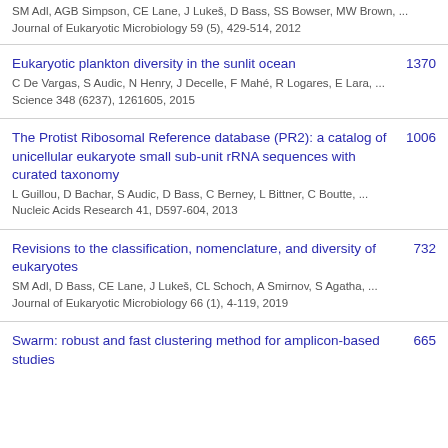SM Adl, AGB Simpson, CE Lane, J Lukeš, D Bass, SS Bowser, MW Brown, ...
Journal of Eukaryotic Microbiology 59 (5), 429-514, 2012
Eukaryotic plankton diversity in the sunlit ocean | 1370
C De Vargas, S Audic, N Henry, J Decelle, F Mahé, R Logares, E Lara, ...
Science 348 (6237), 1261605, 2015
The Protist Ribosomal Reference database (PR2): a catalog of unicellular eukaryote small sub-unit rRNA sequences with curated taxonomy | 1006
L Guillou, D Bachar, S Audic, D Bass, C Berney, L Bittner, C Boutte, ...
Nucleic Acids Research 41, D597-604, 2013
Revisions to the classification, nomenclature, and diversity of eukaryotes | 732
SM Adl, D Bass, CE Lane, J Lukeš, CL Schoch, A Smirnov, S Agatha, ...
Journal of Eukaryotic Microbiology 66 (1), 4-119, 2019
Swarm: robust and fast clustering method for amplicon-based studies | 665